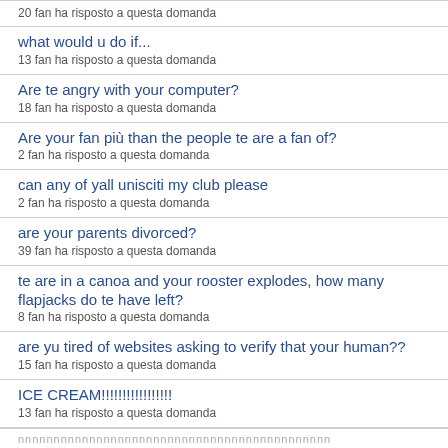20 fan ha risposto a questa domanda
what would u do if...
13 fan ha risposto a questa domanda
Are te angry with your computer?
18 fan ha risposto a questa domanda
Are your fan più than the people te are a fan of?
2 fan ha risposto a questa domanda
can any of yall unisciti my club please
2 fan ha risposto a questa domanda
are your parents divorced?
39 fan ha risposto a questa domanda
te are in a canoa and your rooster explodes, how many flapjacks do te have left?
8 fan ha risposto a questa domanda
are yu tired of websites asking to verify that your human??
15 fan ha risposto a questa domanda
ICE CREAM!!!!!!!!!!!!!!!!!
13 fan ha risposto a questa domanda